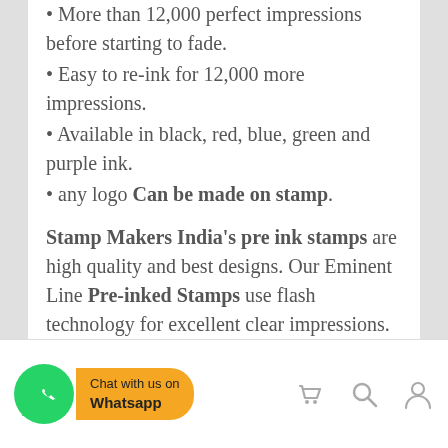• More than 12,000 perfect impressions before starting to fade.
• Easy to re-ink for 12,000 more impressions.
• Available in black, red, blue, green and purple ink.
• any logo Can be made on stamp.
Stamp Makers India's pre ink stamps are high quality and best designs. Our Eminent Line Pre-inked Stamps use flash technology for excellent clear impressions. Produced using only top quality inks and flash materials. The ink is contained within the stamp assembly so no separate ink pad is required. Our pre ink stamps gives More than 12,000 perfect impressions before starting to fade. and after that Easy to re-ink for 12,000 more impressions. its
Chat with us on Whatsapp | Track